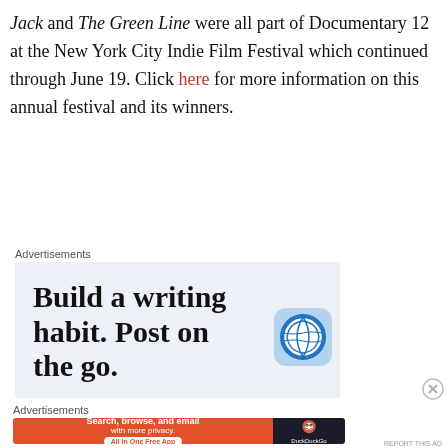Jack and The Green Line were all part of Documentary 12 at the New York City Indie Film Festival which continued through June 19. Click here for more information on this annual festival and its winners.
Advertisements
[Figure (infographic): WordPress app advertisement with text 'Build a writing habit. Post on the go.' and 'GET THE APP' call to action with WordPress logo icon]
Advertisements
[Figure (infographic): DuckDuckGo advertisement: 'Search, browse, and email with more privacy. All in One Free App' with DuckDuckGo logo]